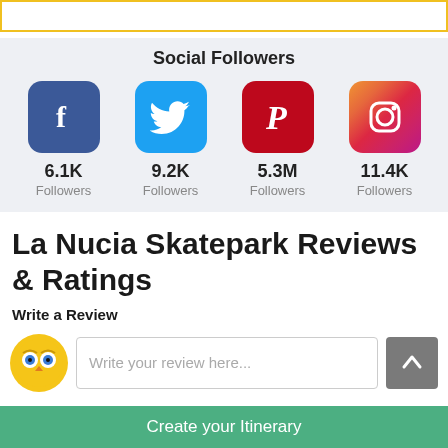[Figure (infographic): Social Followers section showing 4 social media platforms: Facebook 6.1K followers, Twitter 9.2K followers, Pinterest 5.3M followers, Instagram 11.4K followers]
La Nucia Skatepark Reviews & Ratings
Write a Review
Write your review here...
Create your Itinerary